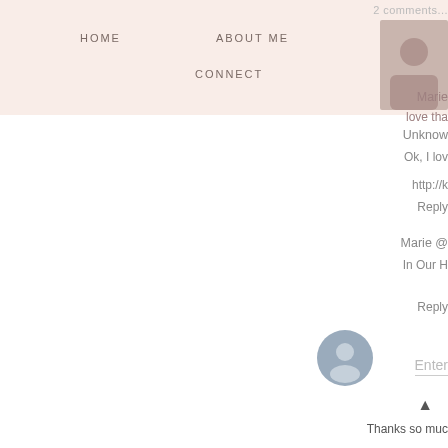HOME   ABOUT ME   SHOP   CONNECT
Marie
love tha
Marie @
In Our H
Reply
[Figure (illustration): Orange Blogger icon with white b symbol]
Unknow
Ok, I lov
http://k
Reply
[Figure (illustration): Gray user profile avatar icon]
Enter
Thanks so muc